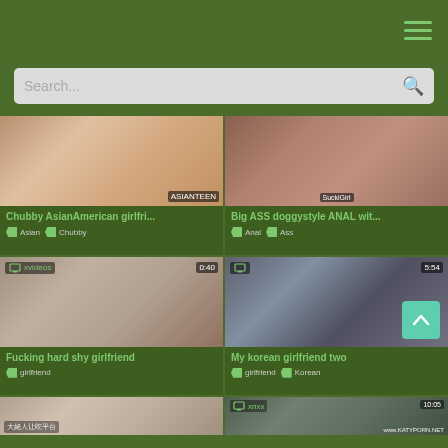Navigation header with hamburger menu
Search...
[Figure (screenshot): Video thumbnail for Chubby AsianAmerican girlfri...]
Chubby AsianAmerican girlfri...
Asian  Chubby
[Figure (screenshot): Video thumbnail for Big ASS doggystyle ANAL wit...]
Big ASS doggystyle ANAL wit...
Anal  Ass
[Figure (screenshot): Video thumbnail for Fucking hard shy girlfriend, xvideos, 0:40]
Fucking hard shy girlfriend
girlfriend
[Figure (screenshot): Video thumbnail for My korean girlfriend two, 5:54]
My korean girlfriend two
girlfriend  Korean
[Figure (screenshot): Bottom left partial video thumbnail]
[Figure (screenshot): Bottom right partial video thumbnail with xnxx label, 10:05, www.katyporn.net watermark]